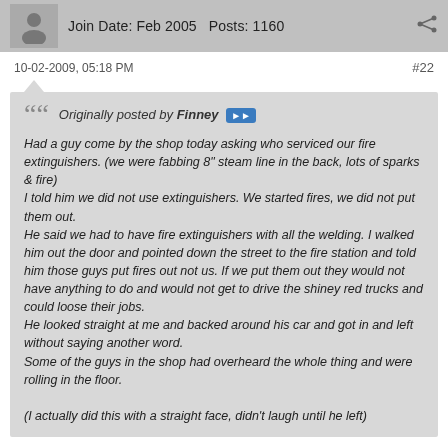Join Date: Feb 2005  Posts: 1160
10-02-2009, 05:18 PM
#22
Originally posted by Finney
Had a guy come by the shop today asking who serviced our fire extinguishers. (we were fabbing 8" steam line in the back, lots of sparks & fire)
I told him we did not use extinguishers. We started fires, we did not put them out.
He said we had to have fire extinguishers with all the welding. I walked him out the door and pointed down the street to the fire station and told him those guys put fires out not us. If we put them out they would not have anything to do and would not get to drive the shiney red trucks and could loose their jobs.
He looked straight at me and backed around his car and got in and left without saying another word.
Some of the guys in the shop had overheard the whole thing and were rolling in the floor.

(I actually did this with a straight face, didn't laugh until he left)
Maybe I'm just a simpleton, but I thought this was a funny story...
I had never even considered all of the serious ramifications of a little joking around.